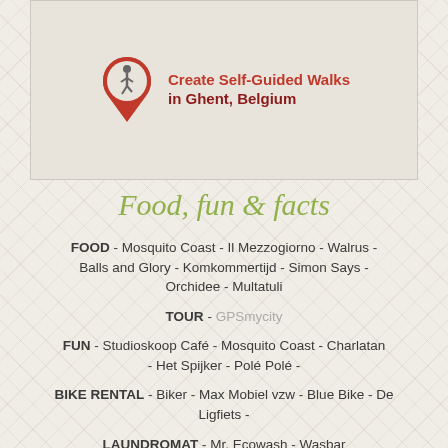[Figure (logo): Red map pin icon with a walking figure silhouette, next to text 'Create Self-Guided Walks in Ghent, Belgium' in red/dark red bold font]
Food, fun & facts
FOOD - Mosquito Coast - Il Mezzogiorno - Walrus - Balls and Glory - Komkommertijd - Simon Says - Orchidee - Multatuli
TOUR - GPSmycity
FUN - Studioskoop Café - Mosquito Coast - Charlatan - Het Spijker - Polé Polé -
BIKE RENTAL - Biker - Max Mobiel vzw - Blue Bike - De Ligfiets -
LAUNDROMAT - Mr. Ecowash - Wasbar